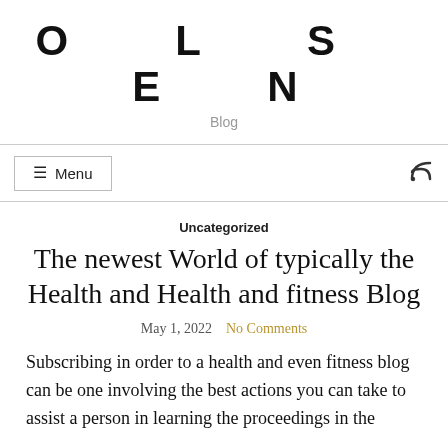OLSEN
Blog
Uncategorized
The newest World of typically the Health and Health and fitness Blog
May 1, 2022   No Comments
Subscribing in order to a health and even fitness blog can be one involving the best actions you can take to assist a person in learning the proceedings in the